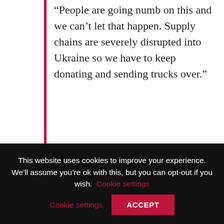“People are going numb on this and we can’t let that happen. Supply chains are severely disrupted into Ukraine so we have to keep donating and sending trucks over.”
A final collection will be held at White Horse Machinery (WHM) on Hornbeam Park on Wednesday, May 18, from 9.30am to 1.30pm, when businesses and individuals can make contributions.
Donations of non-perishable foods are needed, along
This website uses cookies to improve your experience. We’ll assume you’re ok with this, but you can opt-out if you wish. Cookie settings ACCEPT